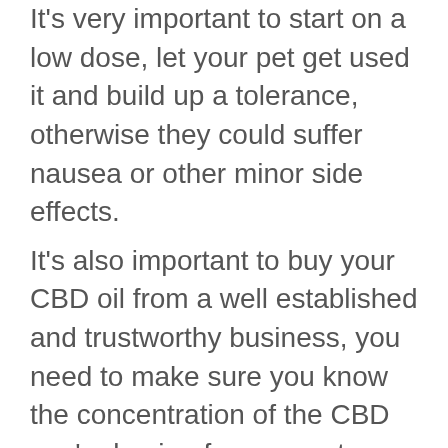It's very important to start on a low dose, let your pet get used it and build up a tolerance, otherwise they could suffer nausea or other minor side effects.
It's also important to buy your CBD oil from a well established and trustworthy business, you need to make sure you know the concentration of the CBD you're buying for your pet, there are many places selling it.
But you need to know that not all CBD oils are made equal.
It is unlikely that your pet will experience any adverse side effects from the CBD but you should monitor